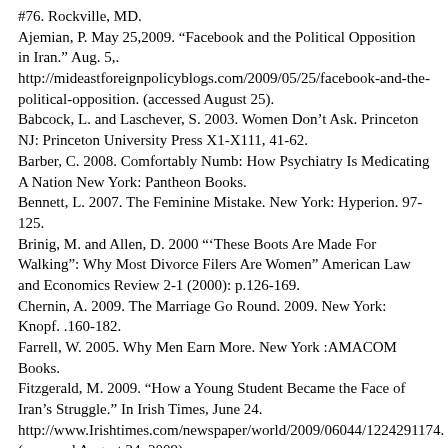#76. Rockville, MD.
Ajemian, P. May 25,2009. “Facebook and the Political Opposition in Iran.” Aug. 5,. http://mideastforeignpolicyblogs.com/2009/05/25/facebook-and-the-political-opposition. (accessed August 25).
Babcock, L. and Laschever, S. 2003. Women Don’t Ask. Princeton NJ: Princeton University Press X1-X111, 41-62.
Barber, C. 2008. Comfortably Numb: How Psychiatry Is Medicating A Nation New York: Pantheon Books.
Bennett, L. 2007. The Feminine Mistake. New York: Hyperion. 97-125.
Brinig, M. and Allen, D. 2000 “‘These Boots Are Made For Walking”: Why Most Divorce Filers Are Women” American Law and Economics Review 2-1 (2000): p.126-169.
Chernin, A. 2009. The Marriage Go Round. 2009. New York: Knopf. .160-182.
Farrell, W. 2005. Why Men Earn More. New York :AMACOM Books.
Fitzgerald, M. 2009. “How a Young Student Became the Face of Iran’s Struggle.” In Irish Times, June 24. http://www.Irishtimes.com/newspaper/world/2009/06044/1224291174. (accessed August 24, 2009)
Fraad. H. 2009. “Economic Disaster- Psychological Disaster.” Clio’s Psyche.. V 1N 1. June 2009.
Glenmullen. J. 2000. Prozac Backlash. New York: Simon &